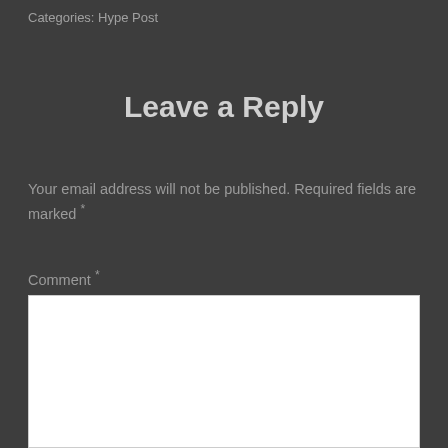Categories: Hype Post
Leave a Reply
Your email address will not be published. Required fields are marked *
Comment *